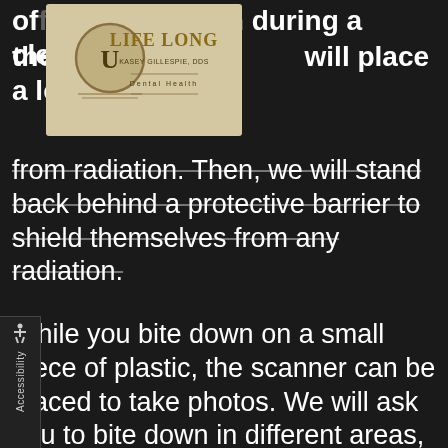of your dental exam during a cleaning. During the exam, [dentist] will place a lead apron
[Figure (logo): Life Long Dental Health logo - Kasey Gillespie, DDS]
from radiation. Then, we will stand back behind a protective barrier to shield themselves from any radiation.
While you bite down on a small piece of plastic, the scanner can be placed to take photos. We will ask you to bite down in different areas, to be able to take x-rays of your whole mouth. Afterward, we will check your x-rays for cavities affecting your teeth or jawbone. We will check your bite to make sure that your teeth are aligning properly and without pain and we'll also screen for oral cancer, which can only be